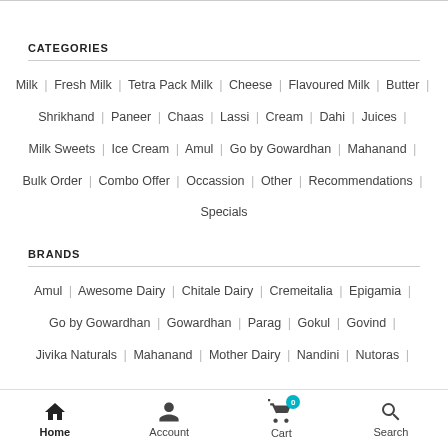CATEGORIES
Milk | Fresh Milk | Tetra Pack Milk | Cheese | Flavoured Milk | Butter | Shrikhand | Paneer | Chaas | Lassi | Cream | Dahi | Juices | Milk Sweets | Ice Cream | Amul | Go by Gowardhan | Mahanand | Bulk Order | Combo Offer | Occassion | Other | Recommendations | Specials
BRANDS
Amul | Awesome Dairy | Chitale Dairy | Cremeitalia | Epigamia | Go by Gowardhan | Gowardhan | Parag | Gokul | Govind | Jivika Naturals | Mahanand | Mother Dairy | Nandini | Nutoras
Home | Account | Cart 0 | Search